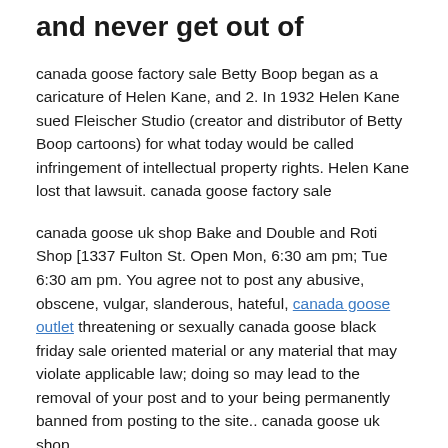and never get out of
canada goose factory sale Betty Boop began as a caricature of Helen Kane, and 2. In 1932 Helen Kane sued Fleischer Studio (creator and distributor of Betty Boop cartoons) for what today would be called infringement of intellectual property rights. Helen Kane lost that lawsuit. canada goose factory sale
canada goose uk shop Bake and Double and Roti Shop [1337 Fulton St. Open Mon, 6:30 am pm; Tue 6:30 am pm. You agree not to post any abusive, obscene, vulgar, slanderous, hateful, canada goose outlet threatening or sexually canada goose black friday sale oriented material or any material that may violate applicable law; doing so may lead to the removal of your post and to your being permanently banned from posting to the site.. canada goose uk shop